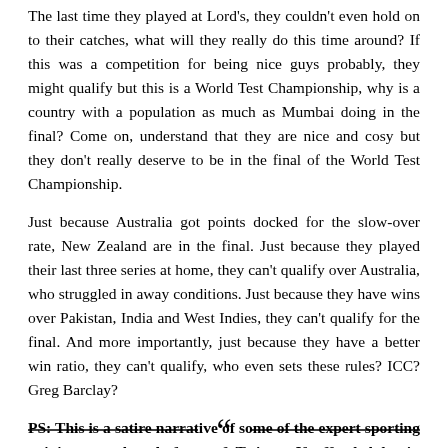The last time they played at Lord's, they couldn't even hold on to their catches, what will they really do this time around? If this was a competition for being nice guys probably, they might qualify but this is a World Test Championship, why is a country with a population as much as Mumbai doing in the final? Come on, understand that they are nice and cosy but they don't really deserve to be in the final of the World Test Championship.
Just because Australia got points docked for the slow-over rate, New Zealand are in the final. Just because they played their last three series at home, they can't qualify over Australia, who struggled in away conditions. Just because they have wins over Pakistan, India and West Indies, they can't qualify for the final. And more importantly, just because they have a better win ratio, they can't qualify, who even sets these rules? ICC? Greg Barclay?
PS: This is a satire narrative of some of the expert sporting opinions on the platform of Twitter. If offended by it, please look up at the social media platform for more such opinions.
[Figure (other): Decorative divider with two horizontal lines and a large opening double quotation mark in the center]